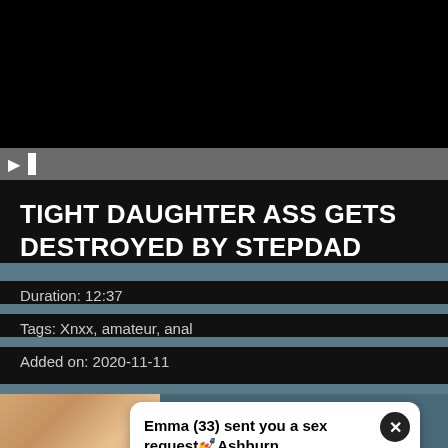[Figure (screenshot): Black video player area showing a paused video]
TIGHT DAUGHTER ASS GETS DESTROYED BY STEPDAD
Duration: 12:37
Tags: Xnxx, amateur, anal
Added on: 2020-11-11
[Figure (photo): Thumbnail image at bottom left]
Emma (33) sent you a sex requestðAshburn
Tap and get her contact ðAshburn ð
mujeres mas ricas / pakistani bro and sis xnxx / porn